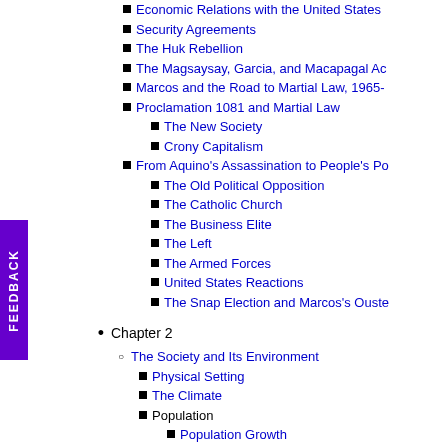Economic Relations with the United States
Security Agreements
The Huk Rebellion
The Magsaysay, Garcia, and Macapagal Ad...
Marcos and the Road to Martial Law, 1965-
Proclamation 1081 and Martial Law
The New Society
Crony Capitalism
From Aquino's Assassination to People's Po...
The Old Political Opposition
The Catholic Church
The Business Elite
The Left
The Armed Forces
United States Reactions
The Snap Election and Marcos's Ouste...
Chapter 2
The Society and Its Environment
Physical Setting
The Climate
Population
Population Growth
Migration
Population Control
Ethnicity, Regionalism, and Language